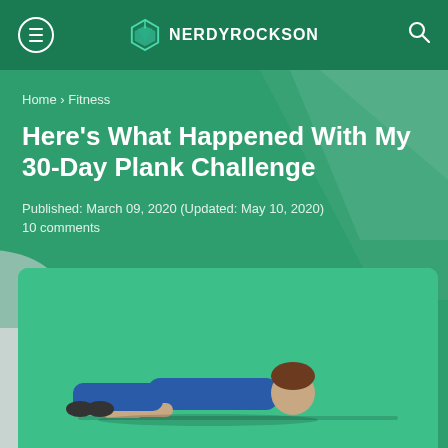NERDYROCKSON
Home › Fitness
Here’s What Happened With My 30-Day Plank Challenge
Published: March 09, 2020 (Updated: May 10, 2020)
10 comments
[Figure (illustration): Illustration of a person doing a plank exercise on a teal/green background card]